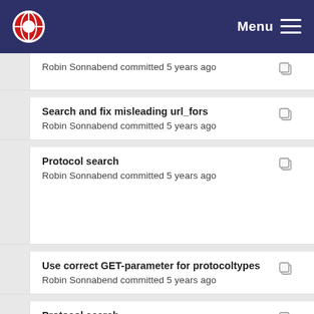Menu
Robin Sonnabend committed 5 years ago
Search and fix misleading url_fors
Robin Sonnabend committed 5 years ago
Protocol search
Robin Sonnabend committed 5 years ago
Use correct GET-parameter for protocoltypes
Robin Sonnabend committed 5 years ago
Protocol search
Robin Sonnabend committed 5 years ago